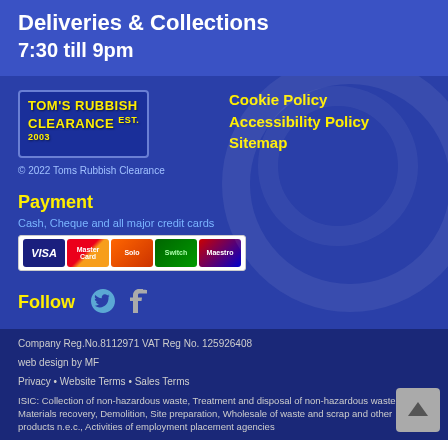Deliveries & Collections
7:30 till 9pm
[Figure (logo): Tom's Rubbish Clearance logo with Est. 2003]
© 2022 Toms Rubbish Clearance
Cookie Policy
Accessibility Policy
Sitemap
Payment
Cash, Cheque and all major credit cards
[Figure (other): Payment card logos: VISA, MasterCard, Solo, Switch, Maestro]
Follow
[Figure (other): Twitter and Facebook social media icons]
Company Reg.No.8112971 VAT Reg No. 125926408
web design by MF
Privacy • Website Terms • Sales Terms
ISIC: Collection of non-hazardous waste, Treatment and disposal of non-hazardous waste, Materials recovery, Demolition, Site preparation, Wholesale of waste and scrap and other products n.e.c., Activities of employment placement agencies